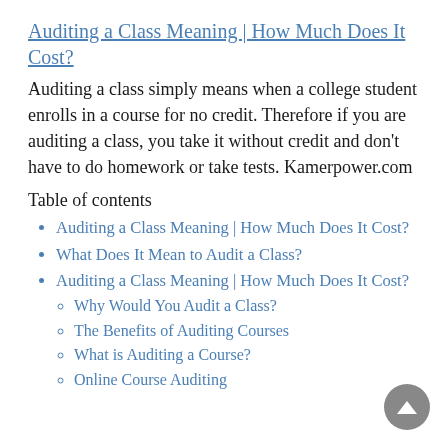Auditing a Class Meaning | How Much Does It Cost?
Auditing a class simply means when a college student enrolls in a course for no credit. Therefore if you are auditing a class, you take it without credit and don't have to do homework or take tests. Kamerpower.com
Table of contents
Auditing a Class Meaning | How Much Does It Cost?
What Does It Mean to Audit a Class?
Auditing a Class Meaning | How Much Does It Cost?
Why Would You Audit a Class?
The Benefits of Auditing Courses
What is Auditing a Course?
Online Course Auditing